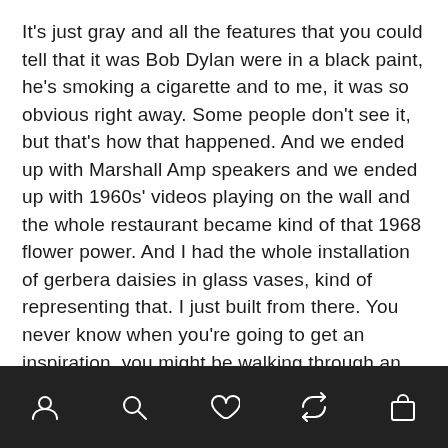It's just gray and all the features that you could tell that it was Bob Dylan were in a black paint, he's smoking a cigarette and to me, it was so obvious right away. Some people don't see it, but that's how that happened. And we ended up with Marshall Amp speakers and we ended up with 1960s' videos playing on the wall and the whole restaurant became kind of that 1968 flower power. And I had the whole installation of gerbera daisies in glass vases, kind of representing that. I just built from there. You never know when you're going to get an inspiration, you might be walking through an art gallery and the painting talks to you in a way that just says I'm an opener diner. I don't know what it is. I mean, those days are probably passed for me from the style of going about opening new restaurants in that way.
[navigation bar with icons: profile, search, heart, share, bag]